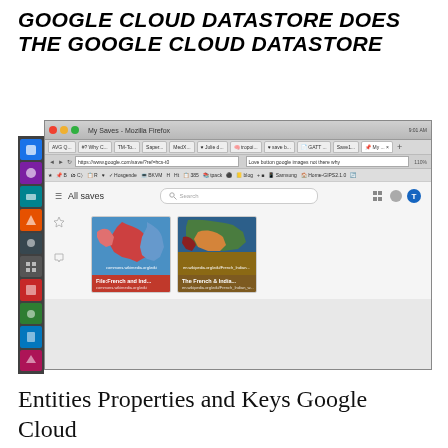GOOGLE CLOUD DATASTORE DOES THE GOOGLE CLOUD DATASTORE
[Figure (screenshot): Screenshot of a web browser (Mozilla Firefox on Ubuntu) showing Google Keep 'All saves' page with two saved items — 'File:French and Ind...' and 'The French & India...' displayed as cards with map images.]
Entities Properties and Keys Google Cloud